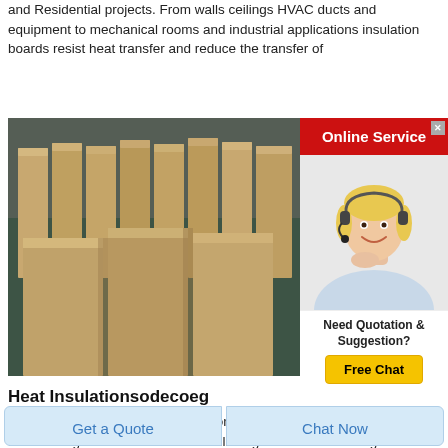and Residential projects. From walls ceilings HVAC ducts and equipment to mechanical rooms and industrial applications insulation boards resist heat transfer and reduce the transfer of
[Figure (photo): Stack of rectangular insulation boards/bricks in beige/tan color arranged in a warehouse or factory setting]
[Figure (other): Online Service advertisement with a customer service representative wearing a headset, with 'Need Quotation & Suggestion? Free Chat' button]
Heat Insulationsodecoeg
Heat Insulation . Thermal insulation in buildings is an important factor to achieving thermal comfort. Our full range of materials being Polystyrene (XPS) or
Get a Quote
Chat Now